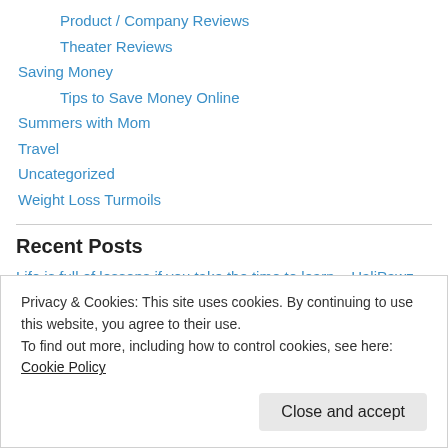Product / Company Reviews
Theater Reviews
Saving Money
Tips to Save Money Online
Summers with Mom
Travel
Uncategorized
Weight Loss Turmoils
Recent Posts
Life is full of lessons if you take the time to learn – HaliPawz
Privacy & Cookies: This site uses cookies. By continuing to use this website, you agree to their use.
To find out more, including how to control cookies, see here: Cookie Policy
Close and accept